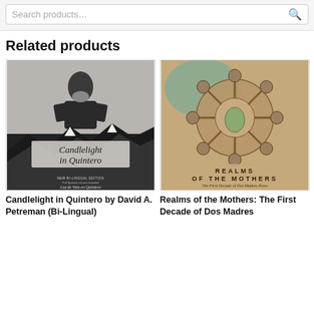[Figure (screenshot): Search products input box with magnifying glass icon on grey background]
Related products
[Figure (photo): Book cover: Candlelight in Quintero by David A. Petreman (Bi-Lingual). Black and white cover with photo of bearded man and mountain landscape. Cursive title text. New Bi-Lingual Edition with Spanish version included.]
[Figure (illustration): Book cover: Realms of the Mothers: The First Decade of Dos Madres Press. Illustrated map/fantasy artwork in earth tones with ornate circular design. Title in spaced lettering at bottom.]
Candlelight in Quintero by David A. Petreman (Bi-Lingual)
Realms of the Mothers: The First Decade of Dos Madres